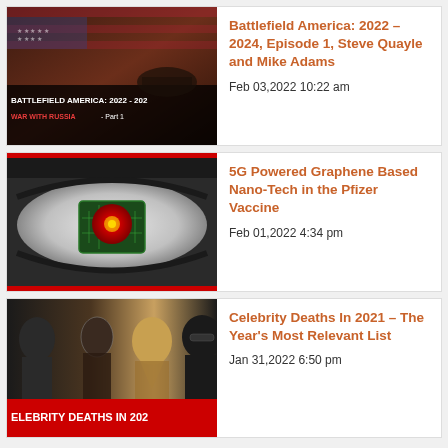[Figure (screenshot): Thumbnail for Battlefield America 2022-2024 video showing American flag with dark overlay and text 'BATTLEFIELD AMERICA: 2022 - 2024 WAR WITH RUSSIA - Part 1']
Battlefield America: 2022 – 2024, Episode 1, Steve Quayle and Mike Adams
Feb 03,2022 10:22 am
[Figure (screenshot): Thumbnail for 5G Graphene Nano-Tech video showing a close-up of an eye with a microchip/circuit board reflected in the pupil, red border]
5G Powered Graphene Based Nano-Tech in the Pfizer Vaccine
Feb 01,2022 4:34 pm
[Figure (screenshot): Thumbnail for Celebrity Deaths In 2021 video showing collage of celebrities with red banner text 'CELEBRITY DEATHS IN 2021']
Celebrity Deaths In 2021 – The Year's Most Relevant List
Jan 31,2022 6:50 pm